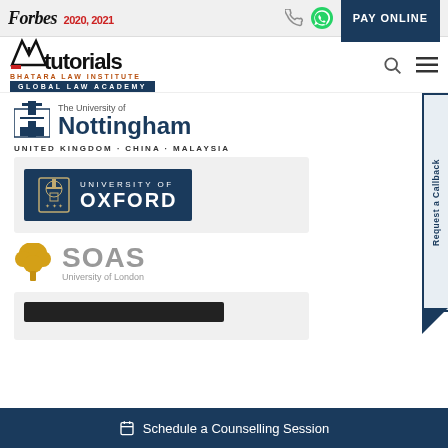Forbes 2020, 2021 | PAY ONLINE
[Figure (logo): AB Tutorials - Bhatara Law Institute logo with Global Law Academy badge]
[Figure (logo): The University of Nottingham logo - UNITED KINGDOM · CHINA · MALAYSIA]
[Figure (logo): University of Oxford logo on dark blue background]
[Figure (logo): SOAS University of London logo with gold tree icon]
[Figure (logo): Partially visible university logo card at bottom]
Request a Callback
Schedule a Counselling Session